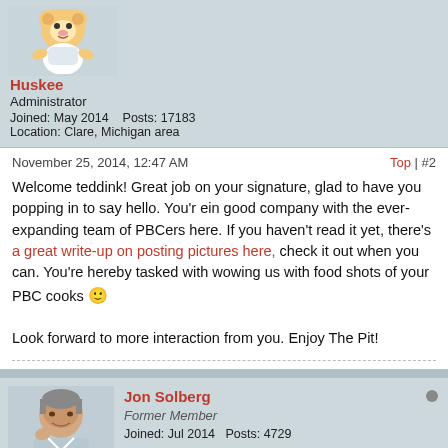[Figure (photo): Mascot cartoon avatar for Huskee]
Huskee
Administrator
Joined: May 2014    Posts: 17183
Location: Clare, Michigan area
November 25, 2014, 12:47 AM
Top | #2
Welcome teddink! Great job on your signature, glad to have you popping in to say hello. You'r ein good company with the ever-expanding team of PBCers here. If you haven't read it yet, there's a great write-up on posting pictures here, check it out when you can. You're hereby tasked with wowing us with food shots of your your PBC cooks 😉

Look forward to more interaction from you. Enjoy The Pit!
[Figure (photo): Profile photo of Jon Solberg, older man]
Jon Solberg
Former Member
Joined: Jul 2014    Posts: 4729